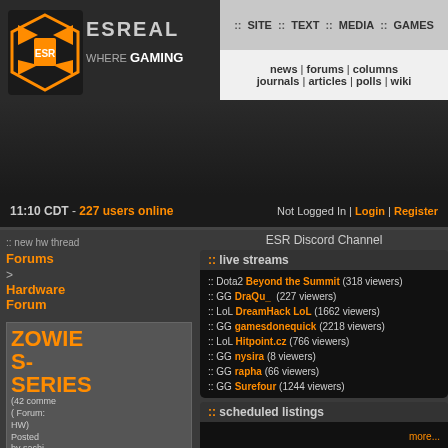ESREALITY WHERE GAMING :: SITE :: TEXT :: MEDIA :: GAMES | news | forums | columns | journals | articles | polls | wiki
11:10 CDT - 227 users online | Not Logged In | Login | Register
ESR Discord Channel
:: live streams
:: Dota2 Beyond the Summit (318 viewers)
:: GG DraQu_ (227 viewers)
:: LoL DreamHack LoL (1662 viewers)
:: GG gamesdonequick (2218 viewers)
:: LoL Hitpoint.cz (766 viewers)
:: GG nysira (8 viewers)
:: GG rapha (66 viewers)
:: GG Surefour (1244 viewers)
:: scheduled listings
more...
:: other hw threads
:: Ninjutso Katana Superlight (3)
new hw thread Forums > Hardware Forum
ZOWIE S-SERIES (42 comments) ( Forum: HW) Posted by sachi @ 00:38 CST, 5 December 2018 - iMsg